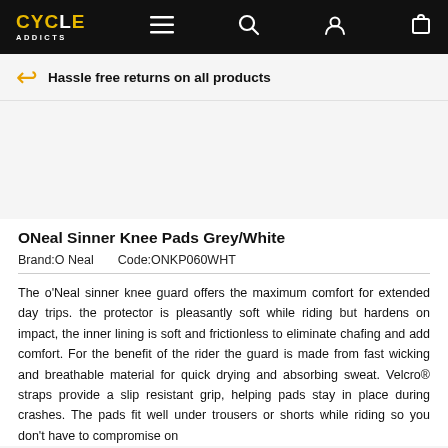CYCLE ADDICTS — navigation header with menu, search, account, and cart icons
Hassle free returns on all products
[Figure (photo): Product image area for ONeal Sinner Knee Pads Grey/White — appears blank/white in this view]
ONeal Sinner Knee Pads Grey/White
Brand:O Neal    Code:ONKP060WHT
The o'Neal sinner knee guard offers the maximum comfort for extended day trips. the protector is pleasantly soft while riding but hardens on impact, the inner lining is soft and frictionless to eliminate chafing and add comfort. For the benefit of the rider the guard is made from fast wicking and breathable material for quick drying and absorbing sweat. Velcro® straps provide a slip resistant grip, helping pads stay in place during crashes. The pads fit well under trousers or shorts while riding so you don't have to compromise on